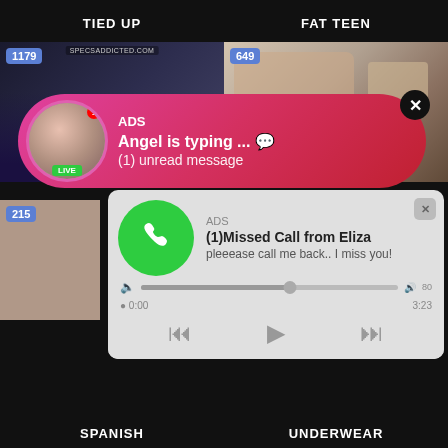TIED UP
FAT TEEN
[Figure (screenshot): Video thumbnail with count badge 1179 and watermark SPECSADDICTED.COM]
[Figure (screenshot): Video thumbnail with count badge 649]
[Figure (infographic): ADS popup: Angel is typing ... (1) unread message, with avatar, LIVE badge, close button]
[Figure (screenshot): Video thumbnail with count badge 215]
[Figure (infographic): ADS missed call popup: (1)Missed Call from Eliza, pleeease call me back.. I miss you!, audio player 0:00 to 3:23]
SPANISH
UNDERWEAR